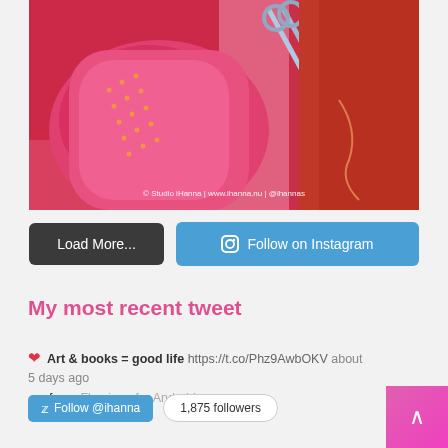[Figure (photo): Close-up photo of pink and red fabric with stitching/embroidery and scissors, watermarked '© Studio iHanna | www.ihanna.nu | @ihannas']
Load More...
Follow on Instagram
My most recent tweet
Art & books = good life https://t.co/Phz9AwbOKV about 5 days ago from Flamingo for Android
Follow @ihanna
1,875 followers